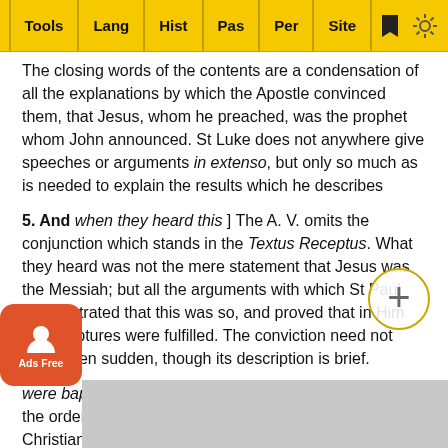Tools | Lang | Hist | Pas | Per | Site
The closing words of the contents are a condensation of all the explanations by which the Apostle convinced them, that Jesus, whom he preached, was the prophet whom John announced. St Luke does not anywhere give speeches or arguments in extenso, but only so much as is needed to explain the results which he describes
5. And when they heard this ] The A. V. omits the conjunction which stands in the Textus Receptus. What they heard was not the mere statement that Jesus was the Messiah; but all the arguments with which St Paul demonstrated that this was so, and proved that in Him the Scriptures were fulfilled. The conviction need not have been sudden, though its description is brief.
were baptized into the name of the Lord Jesus ] T... wed the order appointed for admission to the privileges of the Christian covenant. No argument can be drawn from this v... nd never... s